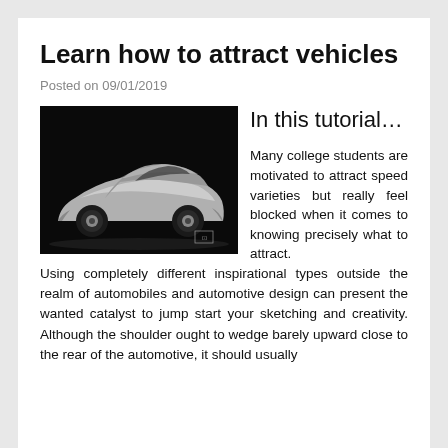Learn how to attract vehicles
Posted on 09/01/2019
[Figure (photo): Futuristic silver concept car photographed from the side against a dark background]
In this tutorial…
Many college students are motivated to attract speed varieties but really feel blocked when it comes to knowing precisely what to attract. Using completely different inspirational types outside the realm of automobiles and automotive design can present the wanted catalyst to jump start your sketching and creativity. Although the shoulder ought to wedge barely upward close to the rear of the automotive, it should usually